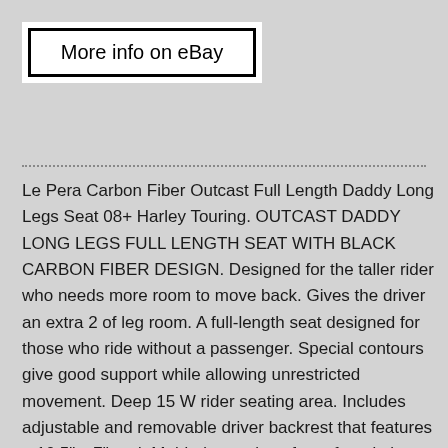[Figure (other): A white rectangular button/badge with bold black border containing the text 'More info on eBay']
Le Pera Carbon Fiber Outcast Full Length Daddy Long Legs Seat 08+ Harley Touring. OUTCAST DADDY LONG LEGS FULL LENGTH SEAT WITH BLACK CARBON FIBER DESIGN. Designed for the taller rider who needs more room to move back. Gives the driver an extra 2 of leg room. A full-length seat designed for those who ride without a passenger. Special contours give good support while allowing unrestricted movement. Deep 15 W rider seating area. Includes adjustable and removable driver backrest that features a 10.5" x 7" pad. Molded one-piece foam foundation covered with premium-grade vinyl on a 16-gauge powder-coated steel base plate. Seat bottom carpeted to protect the fender. Made in the U. See Compatible Vehicles Above. This is to ensure your package gets to you as quickly and as well packaged as possible. Our inventory is constantly updating and changing, we do our best